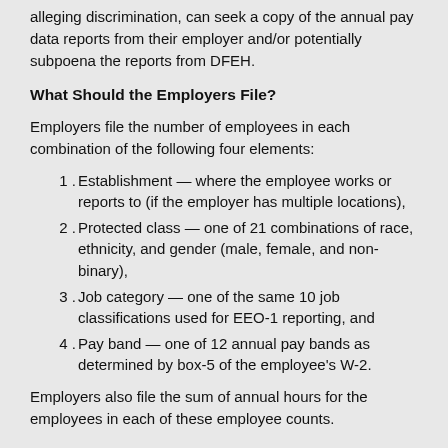alleging discrimination, can seek a copy of the annual pay data reports from their employer and/or potentially subpoena the reports from DFEH.
What Should the Employers File?
Employers file the number of employees in each combination of the following four elements:
1. Establishment — where the employee works or reports to (if the employer has multiple locations),
2. Protected class — one of 21 combinations of race, ethnicity, and gender (male, female, and non-binary),
3. Job category — one of the same 10 job classifications used for EEO-1 reporting, and
4. Pay band — one of 12 annual pay bands as determined by box-5 of the employee's W-2.
Employers also file the sum of annual hours for the employees in each of these employee counts.
How Should California Employers File the Pay Data